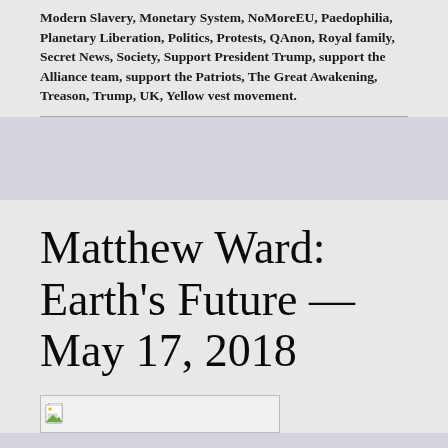Modern Slavery, Monetary System, NoMoreEU, Paedophilia, Planetary Liberation, Politics, Protests, QAnon, Royal family, Secret News, Society, Support President Trump, support the Alliance team, support the Patriots, The Great Awakening, Treason, Trump, UK, Yellow vest movement.
Matthew Ward: Earth's Future — May 17, 2018
[Figure (photo): Broken/missing image placeholder showing a small broken image icon on a white background with a light border]